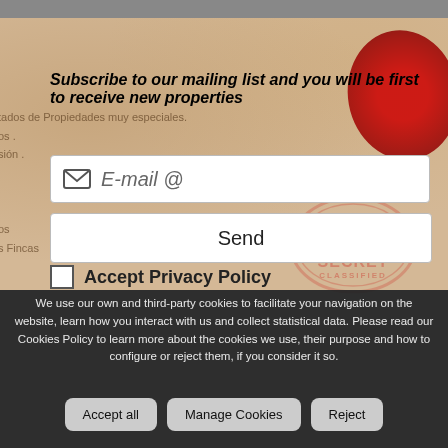Subscribe to our mailing list and you will be first to receive new properties
E-mail @
Send
Accept Privacy Policy
We use our own and third-party cookies to facilitate your navigation on the website, learn how you interact with us and collect statistical data. Please read our Cookies Policy to learn more about the cookies we use, their purpose and how to configure or reject them, if you consider it so.
Accept all
Manage Cookies
Reject